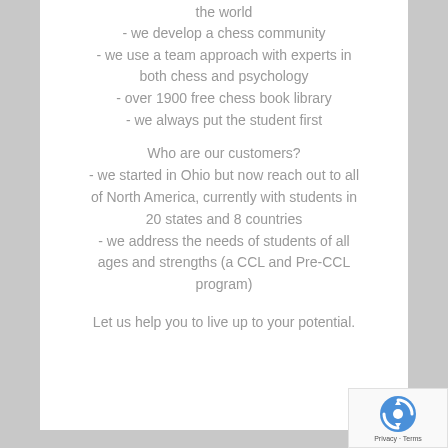the world
- we develop a chess community
- we use a team approach with experts in both chess and psychology
- over 1900 free chess book library
- we always put the student first
Who are our customers?
- we started in Ohio but now reach out to all of North America, currently with students in 20 states and 8 countries
- we address the needs of students of all ages and strengths (a CCL and Pre-CCL program)
Let us help you to live up to your potential.